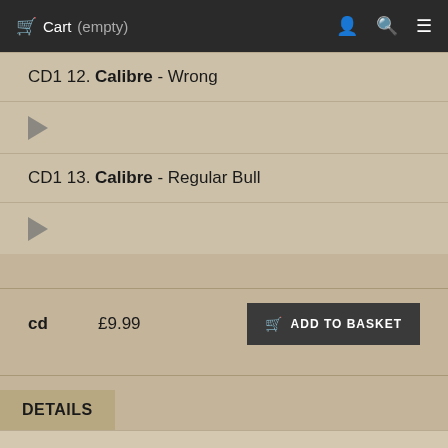Cart (empty)
CD1 12. Calibre - Wrong
CD1 13. Calibre - Regular Bull
cd  £9.99  ADD TO BASKET
DETAILS
Multi-faceted artist Calibre today shares his sixteenth studio album 'Feeling Normal'. The album is...